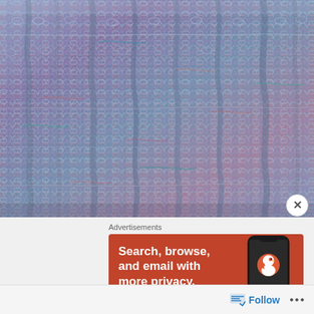[Figure (photo): Close-up macro photograph of knitted fabric with multicolored yarn in shades of blue, purple, teal, and mauve showing a textured ribbed or cable knit pattern]
Advertisements
[Figure (screenshot): DuckDuckGo advertisement banner with orange/red background showing 'Search, browse, and email with more privacy. All in One Free App' with a smartphone image showing the DuckDuckGo app]
Follow